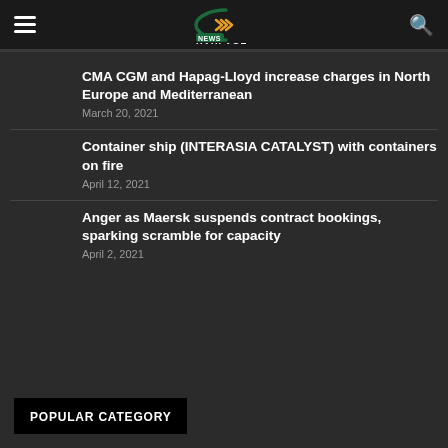Haulage News
CMA CGM and Hapag-Lloyd increase charges in North Europe and Mediterranean
March 20, 2021
Container ship (INTERASIA CATALYST) with containers on fire
April 12, 2021
Anger as Maersk suspends contract bookings, sparking scramble for capacity
April 2, 2021
POPULAR CATEGORY